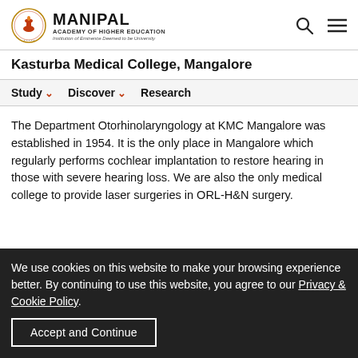[Figure (logo): Manipal Academy of Higher Education logo with circular emblem and text]
Kasturba Medical College, Mangalore
Study  Discover  Research
The Department Otorhinolaryngology at KMC Mangalore was established in 1954. It is the only place in Mangalore which regularly performs cochlear implantation to restore hearing in those with severe hearing loss. We are also the only medical college to provide laser surgeries in ORL-H&N surgery.
We use cookies on this website to make your browsing experience better. By continuing to use this website, you agree to our Privacy & Cookie Policy.
Accept and Continue